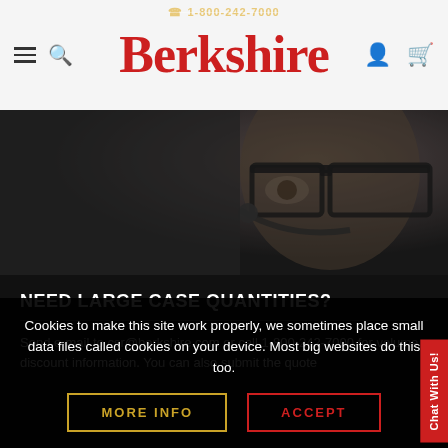1-800-242-7000 | Berkshire
[Figure (photo): Close-up photo of a person wearing glasses and a headset, dark and moody background, customer service representative]
NEED LARGE CASE QUANTITIES?
Send e-mail to csr@berkshire.com or call 1-800-242-7000 for volume discount information. You can also submit the quote
Cookies to make this site work properly, we sometimes place small data files called cookies on your device. Most big websites do this too.
MORE INFO
ACCEPT